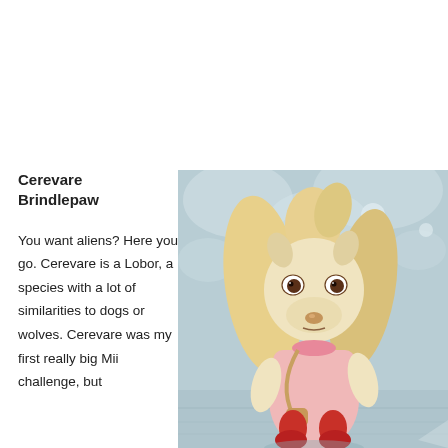Cerevare Brindlepaw
You want aliens? Here you go. Cerevare is a Lobor, a species with a lot of similarities to dogs or wolves. Cerevare was my first really big Mii challenge, but
[Figure (photo): A 3D rendered wolf-like anthropomorphic character (Lobor species named Cerevare Brindlepaw) wearing a pink dress with a sash/bag, standing against a light blue icy background. The character has blonde/cream colored long hair, brown eyes, and animal-like facial features.]